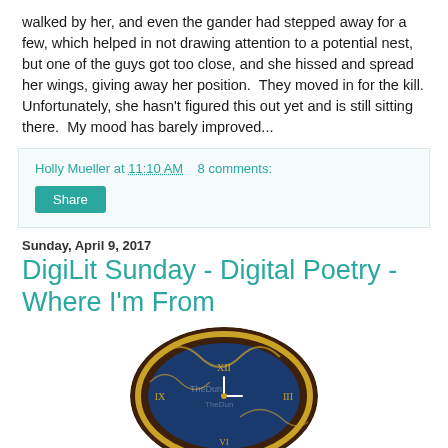walked by her, and even the gander had stepped away for a few, which helped in not drawing attention to a potential nest, but one of the guys got too close, and she hissed and spread her wings, giving away her position.  They moved in for the kill. Unfortunately, she hasn't figured this out yet and is still sitting there.  My mood has barely improved...
Holly Mueller at 11:10 AM   8 comments:
Share
Sunday, April 9, 2017
DigiLit Sunday - Digital Poetry - Where I'm From
[Figure (photo): Circular image of an ornate clock face with brown and gold tones, Roman numerals, partially visible, with decorative gold swirling elements around it.]